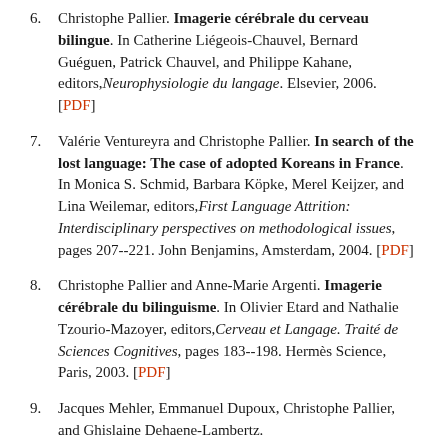6. Christophe Pallier. Imagerie cérébrale du cerveau bilingue. In Catherine Liégeois-Chauvel, Bernard Guéguen, Patrick Chauvel, and Philippe Kahane, editors, Neurophysiologie du langage. Elsevier, 2006. [PDF]
7. Valérie Ventureyra and Christophe Pallier. In search of the lost language: The case of adopted Koreans in France. In Monica S. Schmid, Barbara Köpke, Merel Keijzer, and Lina Weilemar, editors, First Language Attrition: Interdisciplinary perspectives on methodological issues, pages 207--221. John Benjamins, Amsterdam, 2004. [PDF]
8. Christophe Pallier and Anne-Marie Argenti. Imagerie cérébrale du bilinguisme. In Olivier Etard and Nathalie Tzourio-Mazoyer, editors, Cerveau et Langage. Traité de Sciences Cognitives, pages 183--198. Hermès Science, Paris, 2003. [PDF]
9. Jacques Mehler, Emmanuel Dupoux, Christophe Pallier, and Ghislaine Dehaene-Lambertz.